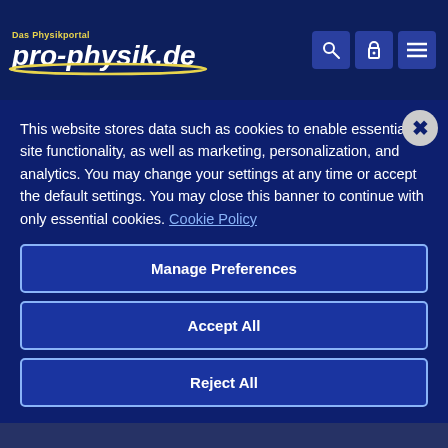Das Physikportal pro-physik.de
(PDF)
Aufschwung für korrelative Mikroskopietechniken (PDF)
Atomar aufgelöste Element- und Isotopenanalyse in
This website stores data such as cookies to enable essential site functionality, as well as marketing, personalization, and analytics. You may change your settings at any time or accept the default settings. You may close this banner to continue with only essential cookies. Cookie Policy
Manage Preferences
Accept All
Reject All